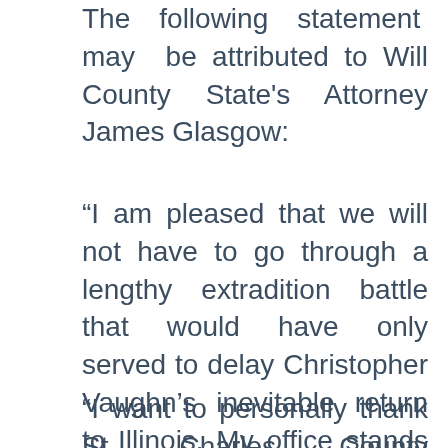The following statement may be attributed to Will County State's Attorney James Glasgow:
“I am pleased that we will not have to go through a lengthy extradition battle that would have only served to delay Christopher Vaughn’s inevitable return to Illinois. My office stands prepared to move forward promptly with legal proceedings that will bring Mr. Vaughn to trial.
“I want to personally thank St. Charles County Prosecuting Attorney Jack Bos…